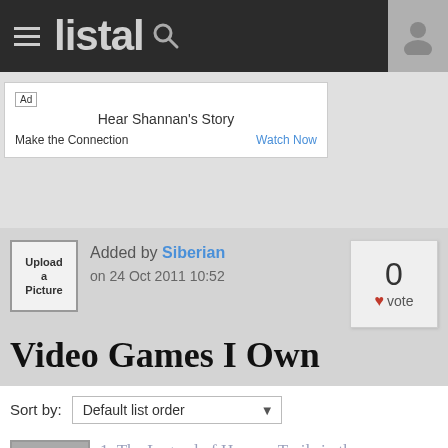listal
[Figure (screenshot): Ad banner: Hear Shannan's Story - Make the Connection - Watch Now]
Added by Siberian on 24 Oct 2011 10:52
Video Games I Own
Sort by: Default list order
1. The Legend of Heroes: Trails in the ...